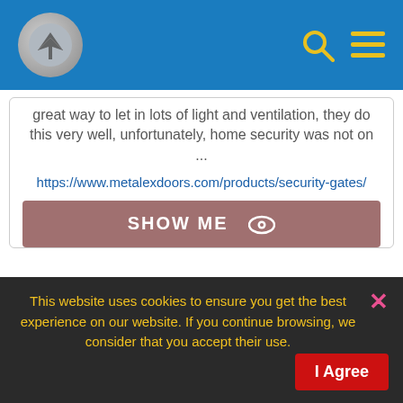[Figure (screenshot): Blue website header bar with circular plane logo icon on the left, and search (magnifying glass) and hamburger menu icons on the right in yellow]
great way to let in lots of light and ventilation, they do this very well, unfortunately, home security was not on ...
https://www.metalexdoors.com/products/security-gates/
SHOW ME
PicJur - PDF Security, Encryption and DRM from Drumlin Security
This website uses cookies to ensure you get the best experience on our website. If you continue browsing, we consider that you accept their use.
I Agree